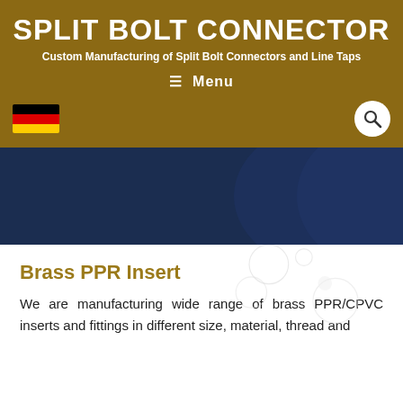SPLIT BOLT CONNECTOR
Custom Manufacturing of Split Bolt Connectors and Line Taps
≡ Menu
[Figure (illustration): German flag icon and search magnifying glass button on gold background header]
[Figure (illustration): Dark navy blue banner with curved decorative wave shape on the right side]
Brass PPR Insert
We are manufacturing wide range of brass PPR/CPVC inserts and fittings in different size, material, thread and